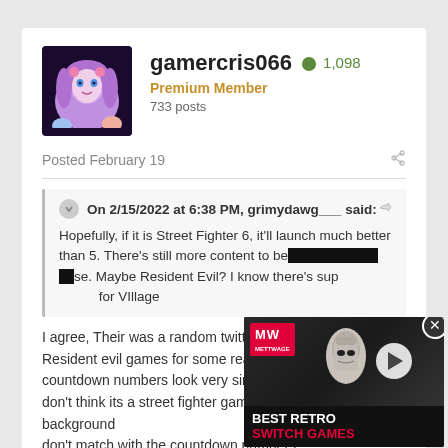[Figure (screenshot): Forum post screenshot showing user gamercris066 with avatar, profile info, post date, quoted reply, and post body with video ad overlay]
gamercris066
1,098
Premium Member
733 posts
Posted February 19
On 2/15/2022 at 6:38 PM, grimydawg___ said:
Hopefully, if it is Street Fighter 6, it'll launch much better than 5.  There's still more content to be added than the base. Maybe Resident Evil?  I know there's supposed to be dlc for VIllage
I agree, Their was a random twitter post that showed Resident evil games for some reason countdown numbers look very similar. I don't think its a street fighter game the numbers and background don't match with the countdown numbers.
BEST RETRO SWITCH GAMES
0